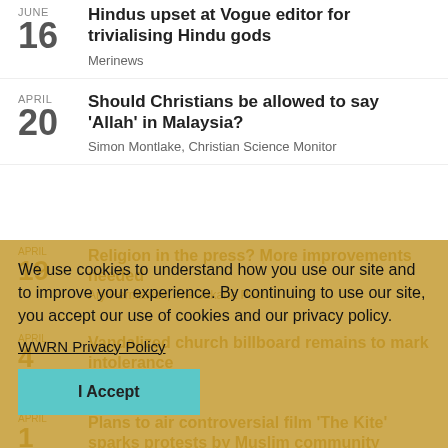JUNE 16 — Hindus upset at Vogue editor for trivialising Hindu gods — Merinews
APRIL 20 — Should Christians be allowed to say 'Allah' in Malaysia? — Simon Montlake, Christian Science Monitor
APRIL 19 — Religion in the press? More improvements needed — Ary Hermawan, The Jakarta Post
APRIL 4 — Vandalized church billboard remains to mark intolerance — Spanishmans Race
APRIL 1 — Plans to air controversial film 'The Kite' sparks protests by Muslim community — The Daily Star
We use cookies to understand how you use our site and to improve your experience. By continuing to use our site, you accept our use of cookies and our privacy policy.
WWRN Privacy Policy
I Accept